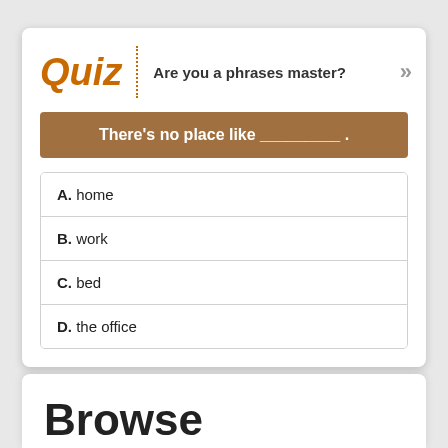Quiz
Are you a phrases master?
There's no place like _________ .
A. home
B. work
C. bed
D. the office
Browse